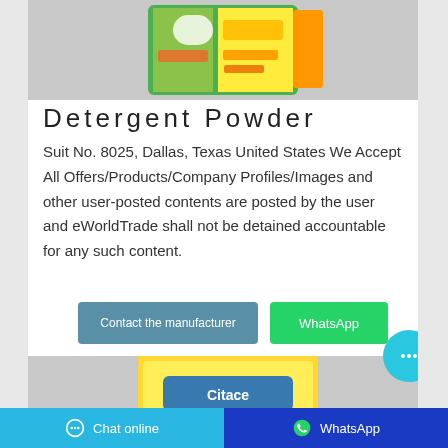[Figure (photo): Product image of detergent powder package (green/yellow/orange packaging) on gray background, partially visible at top]
Detergent Powder
Suit No. 8025, Dallas, Texas United States We Accept All Offers/Products/Company Profiles/Images and other user-posted contents are posted by the user and eWorldTrade shall not be detained accountable for any such content.
[Figure (other): Contact the manufacturer button (blue-gray)]
[Figure (other): WhatsApp button (green)]
[Figure (other): Chat bubble icon (cyan circle with ellipsis)]
[Figure (photo): Second product image showing yellow detergent powder bag (Citace brand) on gray background, partially visible at bottom]
Chat online   WhatsApp